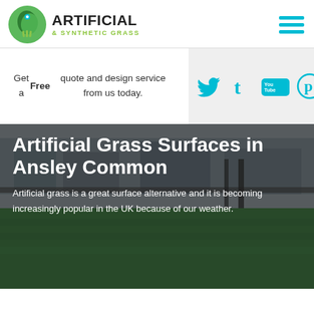[Figure (logo): Artificial & Synthetic Grass logo — green leaf/grass icon with map pin, bold black ARTIFICIAL text, lime green & SYNTHETIC GRASS subtitle, cyan hamburger menu top right]
Get a Free quote and design service from us today.
[Figure (infographic): Social media icons: Twitter bird, Tumblr t, YouTube logo, Pinterest P — all in cyan on light grey background]
[Figure (photo): Photo of an artificial grass sports pitch with fencing and buildings in background, with dark semi-transparent overlay containing white title and description text]
Artificial Grass Surfaces in Ansley Common
Artificial grass is a great surface alternative and it is becoming increasingly popular in the UK because of our weather.